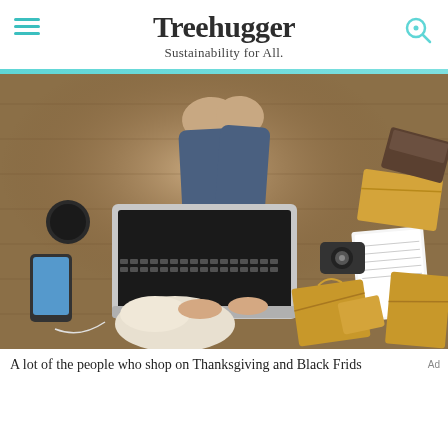Treehugger — Sustainability for All.
[Figure (photo): Overhead view of a person lying on a wooden floor using a laptop, surrounded by Amazon packages, a camera, notebook, phone, and earphones — a Black Friday / online shopping scene.]
A lot of the people who shop on Thanksgiving and Black Frids